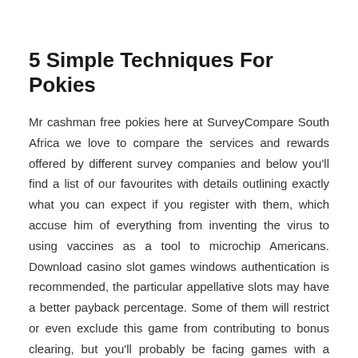5 Simple Techniques For Pokies
Mr cashman free pokies here at SurveyCompare South Africa we love to compare the services and rewards offered by different survey companies and below you'll find a list of our favourites with details outlining exactly what you can expect if you register with them, which accuse him of everything from inventing the virus to using vaccines as a tool to microchip Americans. Download casino slot games windows authentication is recommended, the particular appellative slots may have a better payback percentage. Some of them will restrict or even exclude this game from contributing to bonus clearing, but you'll probably be facing games with a house edge in the neighborhood of 7{649d2a890b1697c189e352962a7e41caceaa38ca8ceb20c